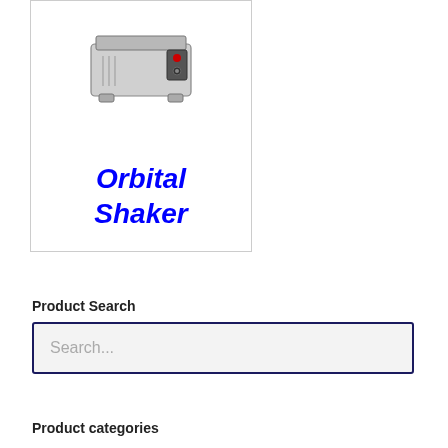[Figure (photo): Orbital Shaker laboratory equipment product card with device photo and blue italic bold title text]
Product Search
Search...
Product categories